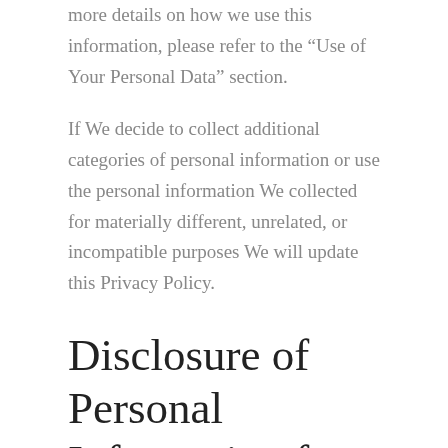more details on how we use this information, please refer to the “Use of Your Personal Data” section.
If We decide to collect additional categories of personal information or use the personal information We collected for materially different, unrelated, or incompatible purposes We will update this Privacy Policy.
Disclosure of Personal Information for Business Purposes or Commercial Purposes